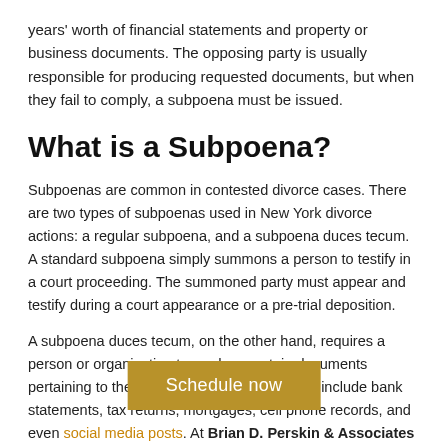years' worth of financial statements and property or business documents. The opposing party is usually responsible for producing requested documents, but when they fail to comply, a subpoena must be issued.
What is a Subpoena?
Subpoenas are common in contested divorce cases. There are two types of subpoenas used in New York divorce actions: a regular subpoena, and a subpoena duces tecum. A standard subpoena simply summons a person to testify in a court proceeding. The summoned party must appear and testify during a court appearance or a pre-trial deposition.
A subpoena duces tecum, on the other hand, requires a person or organization to produce certain documents pertaining to the case. These documents can include bank statements, tax returns, mortgages, cell phone records, and even social media posts. At Brian D. Perskin & Associates P.C., we primarily subpoena records from financial institutions when the opposing party is unable to comply with [text obscured]. If the need arises, we can also serve [text obscured], both during the discovery period or [text obscured] for
Schedule now